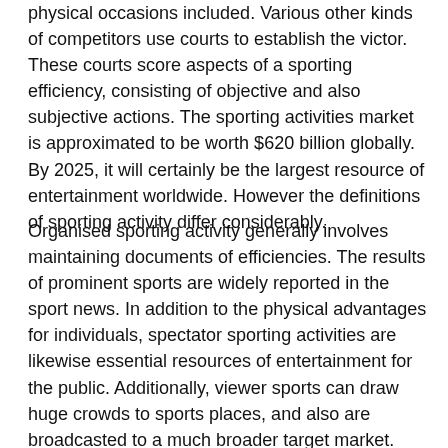physical occasions included. Various other kinds of competitors use courts to establish the victor. These courts score aspects of a sporting efficiency, consisting of objective and also subjective actions. The sporting activities market is approximated to be worth $620 billion globally. By 2025, it will certainly be the largest resource of entertainment worldwide. However the definitions of sporting activity differ considerably.
Organised sporting activity generally involves maintaining documents of efficiencies. The results of prominent sports are widely reported in the sport news. In addition to the physical advantages for individuals, spectator sporting activities are likewise essential resources of entertainment for the public. Additionally, viewer sports can draw huge crowds to sports places, and also are broadcasted to a much broader target market. According to a working as a consultant, the global showing off sector is worth $620 billion, according to the World Economic Forum.